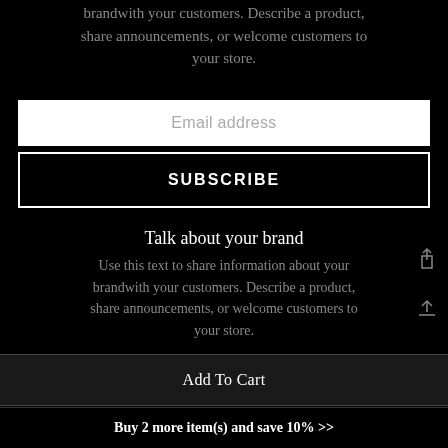brandwith your customers. Describe a product, share announcements, or welcome customers to your store.
Email address
SUBSCRIBE
Talk about your brand
Use this text to share information about your brandwith your customers. Describe a product, share announcements, or welcome customers to your store.
Add To Cart
Buy 2 more item(s) and save 10%  >>